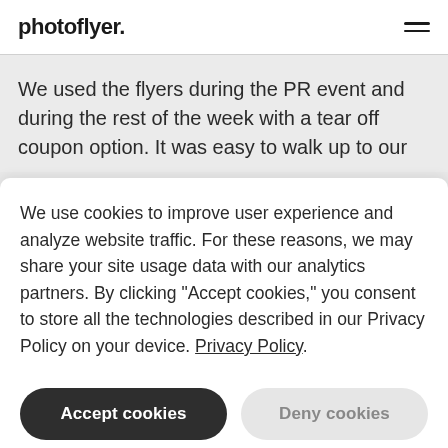photoflyer.
We used the flyers during the PR event and during the rest of the week with a tear off coupon option. It was easy to walk up to our
We use cookies to improve user experience and analyze website traffic. For these reasons, we may share your site usage data with our analytics partners. By clicking “Accept cookies,” you consent to store all the technologies described in our Privacy Policy on your device. Privacy Policy
Accept cookies
Deny cookies